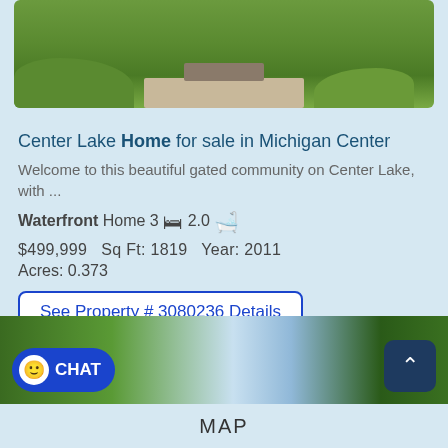[Figure (photo): Aerial or ground-level photo of green lawn/grass with a concrete path and steps]
Center Lake Home for sale in Michigan Center
Welcome to this beautiful gated community on Center Lake, with ...
Waterfront Home 3 [bed icon] 2.0 [bath icon]
$499,999   Sq Ft: 1819   Year: 2011
Acres: 0.373
See Property # 3080236 Details
[Figure (photo): Photo of trees and sky at bottom of listing page]
MAP